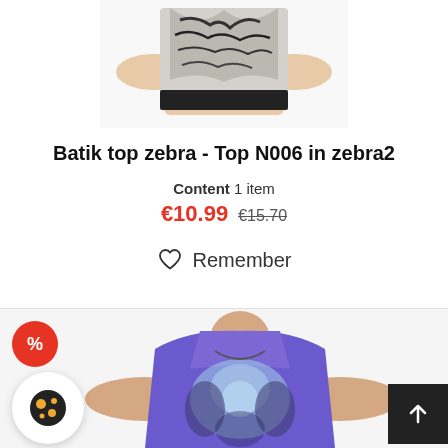[Figure (photo): Woman wearing a black and white batik/marble print sleeveless top, hands on hips, cropped to show torso only]
Batik top zebra - Top N006 in zebra2
Content 1 item
€10.99  €15.70
♡ Remember
[Figure (photo): Woman wearing a blue/purple tie-dye racerback tank top, hands on hips, with a red sale badge showing % in top-left corner]
%